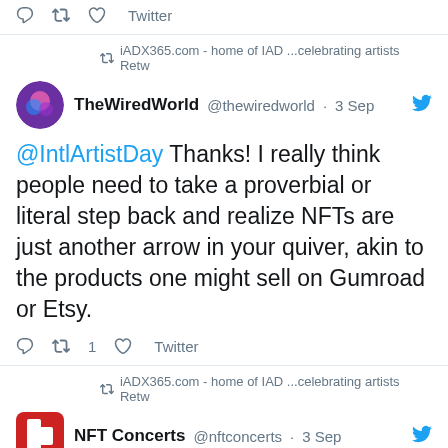[Figure (screenshot): Twitter action bar with reply, retweet, like icons and Twitter link]
[Figure (screenshot): Retweet bar: iADX365.com - home of IAD ...celebrating artists Retw]
TheWiredWorld @thewiredworld · 3 Sep
@IntlArtistDay Thanks! I really think people need to take a proverbial or literal step back and realize NFTs are just another arrow in your quiver, akin to the products one might sell on Gumroad or Etsy.
[Figure (screenshot): Twitter action bar with reply, retweet 1, like icons and Twitter link]
[Figure (screenshot): Retweet bar: iADX365.com - home of IAD ...celebrating artists Retw]
NFT Concerts @nftconcerts · 3 Sep
"Say what you will about NFTs, but